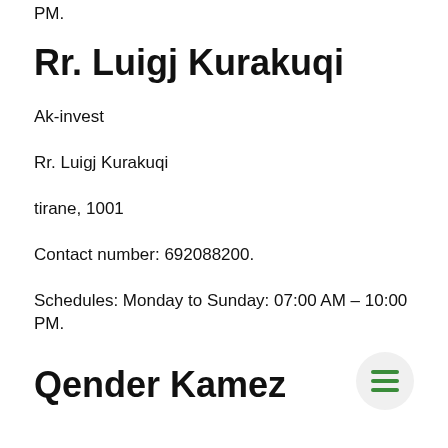PM.
Rr. Luigj Kurakuqi
Ak-invest
Rr. Luigj Kurakuqi
tirane, 1001
Contact number: 692088200.
Schedules: Monday to Sunday: 07:00 AM – 10:00 PM.
Qender Kamez